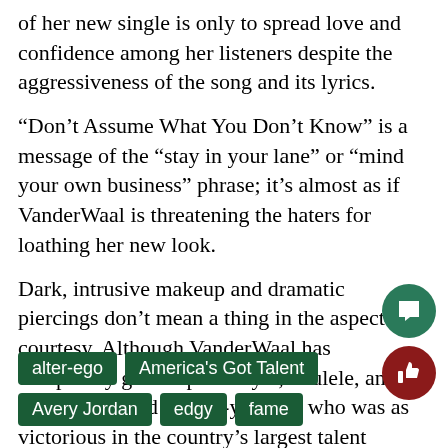of her new single is only to spread love and confidence among her listeners despite the aggressiveness of the song and its lyrics.
“Don’t Assume What You Don’t Know” is a message of the “stay in your lane” or “mind your own business” phrase; it’s almost as if VanderWaal is threatening the haters for loathing her new look.
Dark, intrusive makeup and dramatic piercings don’t mean a thing in the aspect of courtesy. Although VanderWaal has completely given up her style, ukulele, and brand, the timid twelve-year-old who was as victorious in the country’s largest talent competition is still in there and burgeoning
alter-ego
America's Got Talent
Avery Jordan
edgy
fame